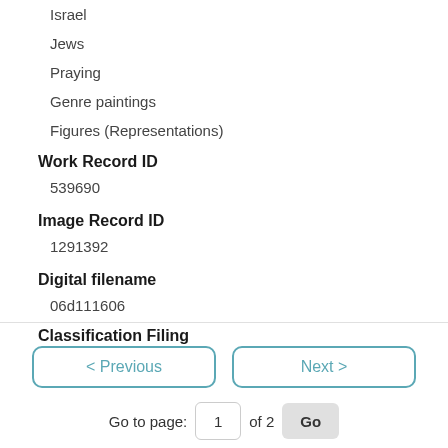Israel
Jews
Praying
Genre paintings
Figures (Representations)
Work Record ID
539690
Image Record ID
1291392
Digital filename
06d111606
Classification Filing
< Previous   Next >   Go to page: 1 of 2  Go